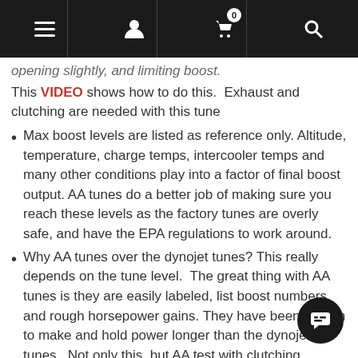Navigation bar with menu, profile, cart (0), and search icons
opening slightly, and limiting boost.
This VIDEO shows how to do this.  Exhaust and clutching are needed with this tune
Max boost levels are listed as reference only. Altitude, temperature, charge temps, intercooler temps and many other conditions play into a factor of final boost output. AA tunes do a better job of making sure you reach these levels as the factory tunes are overly safe, and have the EPA regulations to work around.
Why AA tunes over the dynojet tunes? This really depends on the tune level.  The great thing with AA tunes is they are easily labeled, list boost numbers, and rough horsepower gains. They have been proven to make and hold power longer than the dynojet tunes.  Not only this, but AA test with clutching, exhaust, and other parts to ensure AA's tunes work